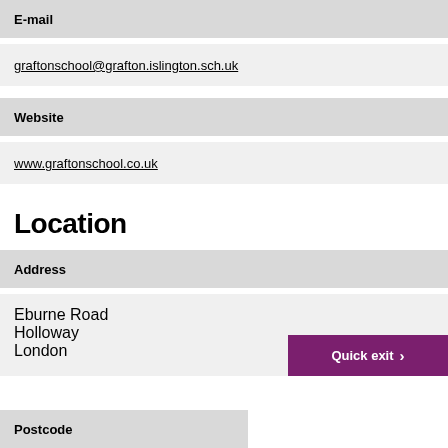E-mail
graftonschool@grafton.islington.sch.uk
Website
www.graftonschool.co.uk
Location
Address
Eburne Road
Holloway
London
Postcode